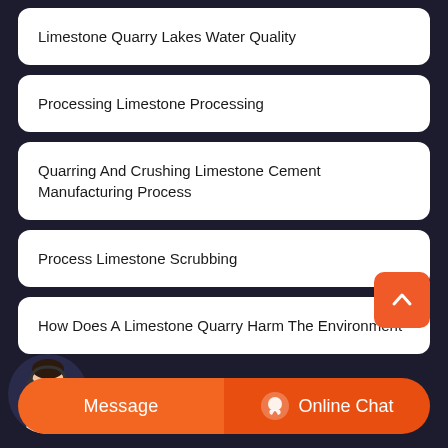Limestone Quarry Lakes Water Quality
Processing Limestone Processing
Quarring And Crushing Limestone Cement Manufacturing Process
Process Limestone Scrubbing
How Does A Limestone Quarry Harm The Environment
Message
Online Chat